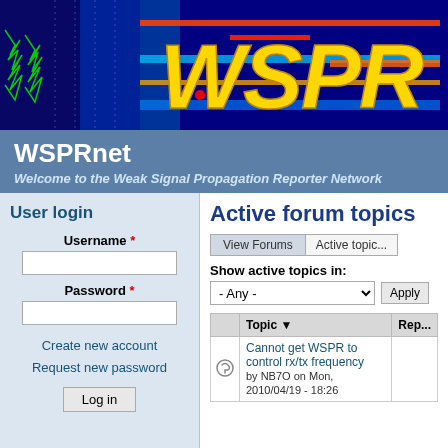[Figure (screenshot): WSPRnet website banner with spectrogram background and large yellow italic WSPR logo text]
WSPRnet
Welcome to the Weak Signal Propagation Reporter Network
User login
Username *
Password *
Create new account
Request new password
Active forum topics
Show active topics in:
| Topic | Rep |
| --- | --- |
| Cannot get WSPR to control rx/tx frequency
by NB7O on Mon, 2010/04/19 - 18:26 |  |